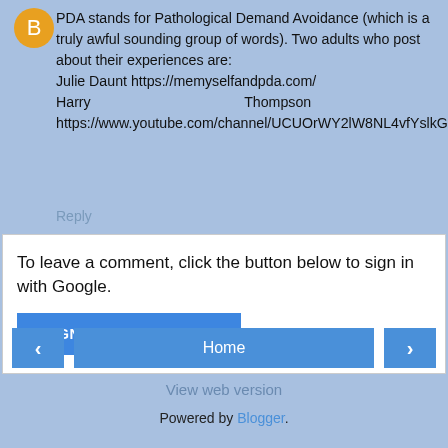PDA stands for Pathological Demand Avoidance (which is a truly awful sounding group of words). Two adults who post about their experiences are:
Julie Daunt https://memyselfandpda.com/
Harry Thompson https://www.youtube.com/channel/UCUOrWY2lW8NL4vfYslkGgLg
Reply
To leave a comment, click the button below to sign in with Google.
SIGN IN WITH GOOGLE
Home
View web version
Powered by Blogger.